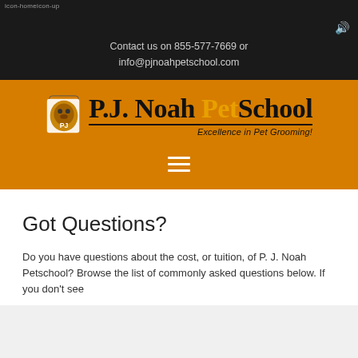icon-homeicon-up
Contact us on 855-577-7669 or info@pjnoahpetschool.com
[Figure (logo): P.J. Noah PetSchool logo with dog silhouette icon, text 'P.J. Noah PetSchool' and tagline 'Excellence in Pet Grooming!']
Got Questions?
Do you have questions about the cost, or tuition, of P. J. Noah Petschool? Browse the list of commonly asked questions below. If you don't see